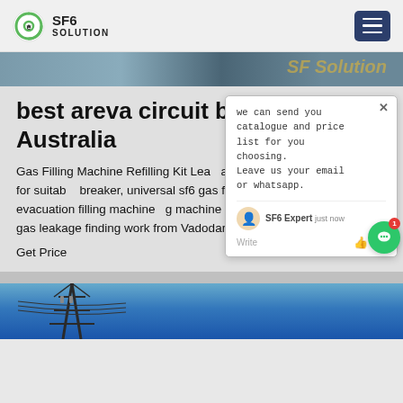SF6 SOLUTION
[Figure (photo): Top banner image of industrial equipment with SF6 Solution text watermark]
best areva circuit breaker sf6 Australia
Gas Filling Machine Refilling Kit Lea... ale Trader of sf6 gas filling kit for suitab... breaker, universal sf6 gas filling kit c... s recovery, evacuation filling machine... g machine with vacuum pump and sf6 gas leakage finding work from Vadodara.
Get Price
[Figure (screenshot): Chat popup overlay with message: we can send you catalogue and price list for you choosing. Leave us your email or whatsapp. SF6 Expert just now. Write input area.]
[Figure (photo): Bottom image of electrical transmission tower/pylon against blue sky]